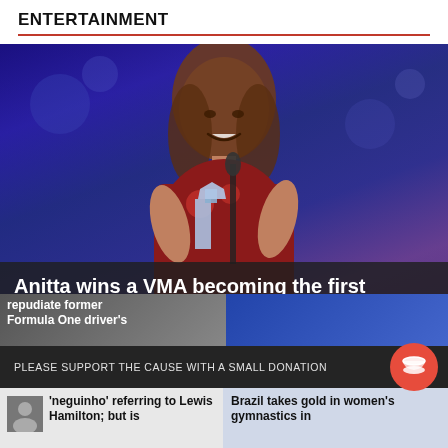ENTERTAINMENT
[Figure (photo): Woman in red dress holding a VMA award trophy on stage with blue/purple stage lighting backdrop]
Anitta wins a VMA becoming the first Brazilian to win the award
SEPTEMBER 3, 2022
repudiate former Formula One driver's
PLEASE SUPPORT THE CAUSE WITH A SMALL DONATION
'neguinho' referring to Lewis Hamilton; but is
Brazil takes gold in women's gymnastics in